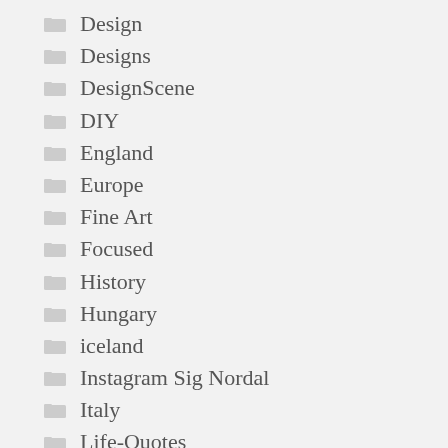Design
Designs
DesignScene
DIY
England
Europe
Fine Art
Focused
History
Hungary
iceland
Instagram Sig Nordal
Italy
Life-Quotes